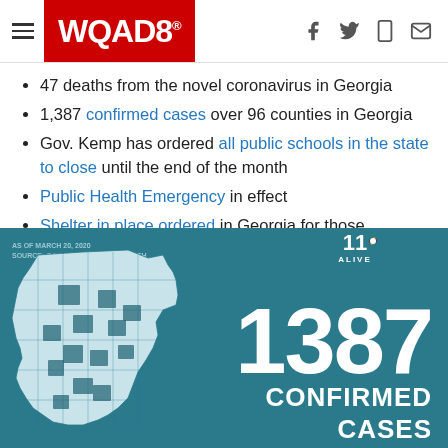WQAD8
47 deaths from the novel coronavirus in Georgia
1,387 confirmed cases over 96 counties in Georgia
Gov. Kemp has ordered all public schools in the state to close until the end of the month
Public Health Emergency in effect
Shelter in place ordered in Georgia for those medically fragile and those most at risk
[Figure (infographic): Teal/dark-cyan infographic showing a county map of Georgia with highlighted counties and large text '1387 CONFIRMED CASES'. Source: GA Dept of Public Health, as of March 20, 2020. 11 Alive NBC logo in top right.]